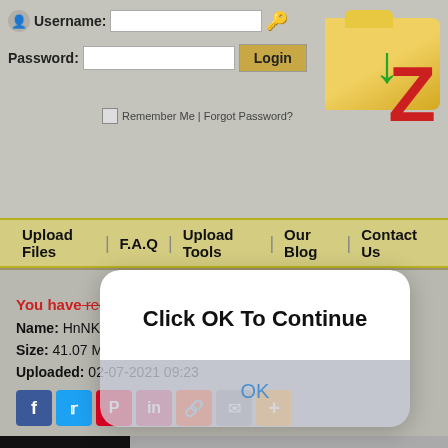[Figure (screenshot): Website header with login form (Username, Password, Login button) and folder/zip logo in top right]
Upload Files | F.A.Q | Upload Tools | Our Blog | Contact Us
[Figure (screenshot): Modal dialog popup with text 'Click OK To Continue' and an OK button]
You have requested the file:
Name: HnNK-1-360p-SAMEHADAKU.VIP.mkv
Size: 41.07 MB
Uploaded: 02-07-2021 09:23
[Figure (screenshot): Social sharing icons: Facebook, Twitter, Pinterest, Instagram-style, Reddit, Email, More]